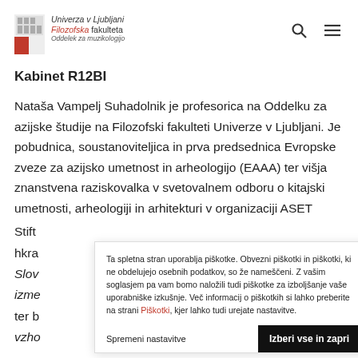Univerza v Ljubljani Filozofska fakulteta Oddelek za muzikologijo
Kabinet R12BI
Nataša Vampelj Suhadolnik je profesorica na Oddelku za azijske študije na Filozofski fakulteti Univerze v Ljubljani. Je pobudnica, soustanoviteljica in prva predsednica Evropske zveze za azijsko umetnost in arheologijo (EAAA) ter višja znanstvena raziskovalka v svetovalnem odboru o kitajski umetnosti, arheologiji in arhitekturi v organizaciji ASET
Stift
hkra
Slov
izme
ter b
vzho
Ta spletna stran uporablja piškotke. Obvezni piškotki in piškotki, ki ne obdelujejo osebnih podatkov, so že nameščeni. Z vašim soglasjem pa vam bomo naložili tudi piškotke za izboljšanje vaše uporabniške izkušnje. Več informacij o piškotkih si lahko preberite na strani Piškotki, kjer lahko tudi urejate nastavitve.
Spremeni nastavitve
Izberi vse in zapri